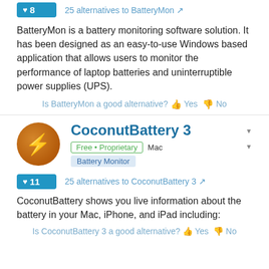[Figure (other): Blue likes button showing heart icon and number 8]
25 alternatives to BatteryMon
BatteryMon is a battery monitoring software solution. It has been designed as an easy-to-use Windows based application that allows users to monitor the performance of laptop batteries and uninterruptible power supplies (UPS).
Is BatteryMon a good alternative? Yes No
CoconutBattery 3
Free • Proprietary  Mac  Battery Monitor
[Figure (other): Blue likes button showing heart icon and number 11]
25 alternatives to CoconutBattery 3
CoconutBattery shows you live information about the battery in your Mac, iPhone, and iPad including:
Is CoconutBattery 3 a good alternative? Yes No